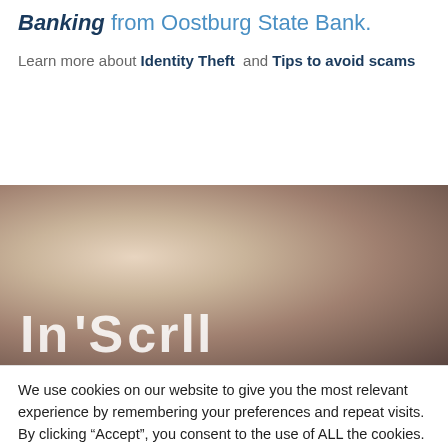Banking from Oostburg State Bank.
Learn more about Identity Theft and Tips to avoid scams
[Figure (photo): Close-up photo of a hand using a smartphone or card, with large white partial text overlay at bottom reading partial letters.]
We use cookies on our website to give you the most relevant experience by remembering your preferences and repeat visits. By clicking “Accept”, you consent to the use of ALL the cookies.
Cookie settings  ACCEPT